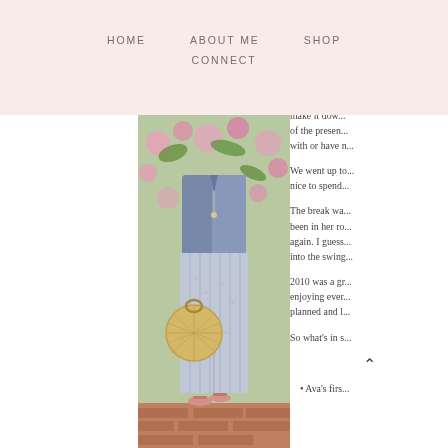HOME   ABOUT ME   SHOP   CONNECT
[Figure (photo): Fashion photo of a woman wearing a long striped skirt with a denim jacket, holding a round woven straw bag, standing in front of pink flowering bushes]
At last, I can s... do Charlo...
So a recap... make it dow... of the presen... with or have n...
We went up to... nice to spend...
The break wa... been in her ro... again. I guess... into the swing...
2010 was a gr... enjoying ever... planned and l...
So what's in s...
Ava's firs...